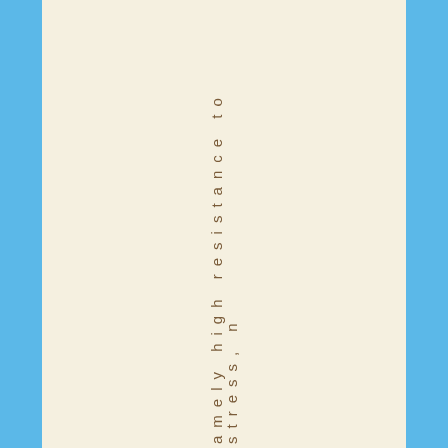amely high resistance to stress, n